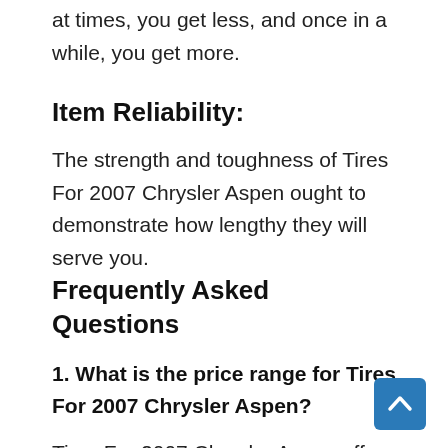at times, you get less, and once in a while, you get more.
Item Reliability:
The strength and toughness of Tires For 2007 Chrysler Aspen ought to demonstrate how lengthy they will serve you.
Frequently Asked Questions
1. What is the price range for Tires For 2007 Chrysler Aspen?
Tires For 2007 Chrysler Aspen offer
[Figure (other): Blue scroll-to-top button with upward chevron arrow icon, positioned at bottom right]